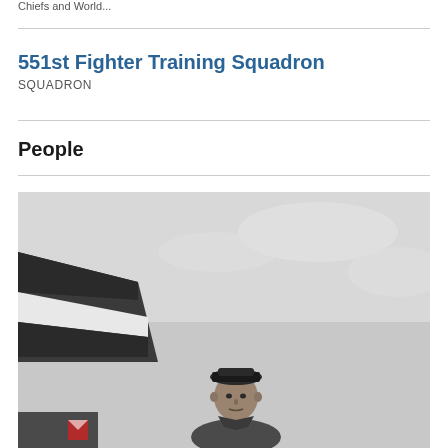Chiefs and World...
551st Fighter Training Squadron
SQUADRON
People
[Figure (photo): Black and white photograph of a military airman standing in front of an aircraft, wearing a military cap and uniform, with sky and aircraft wing visible in the background.]